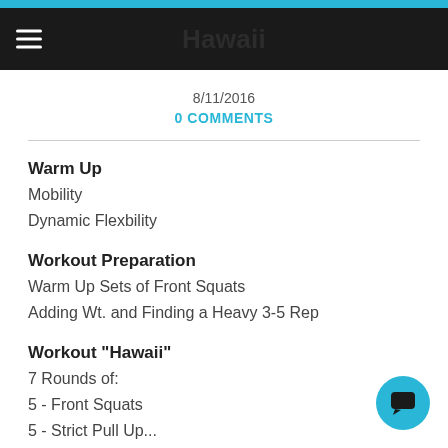Hawaii
8/11/2016
0 COMMENTS
Warm Up
Mobility
Dynamic Flexbility
Workout Preparation
Warm Up Sets of Front Squats
Adding Wt. and Finding a Heavy 3-5 Rep
Workout "Hawaii"
7 Rounds of:
5 - Front Squats
5 - Strict Pull Up...